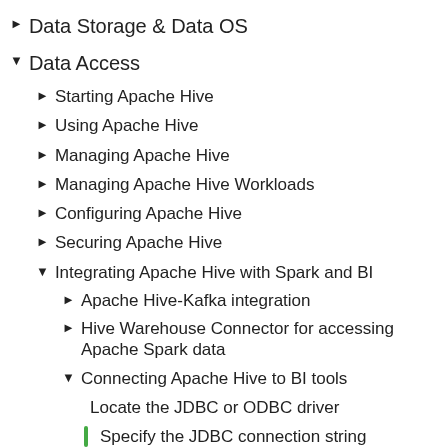Data Storage & Data OS
Data Access
Starting Apache Hive
Using Apache Hive
Managing Apache Hive
Managing Apache Hive Workloads
Configuring Apache Hive
Securing Apache Hive
Integrating Apache Hive with Spark and BI
Apache Hive-Kafka integration
Hive Warehouse Connector for accessing Apache Spark data
Connecting Apache Hive to BI tools
Locate the JDBC or ODBC driver
Specify the JDBC connection string